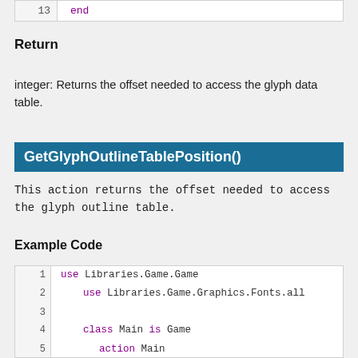| 13 | end |
Return
integer: Returns the offset needed to access the glyph data table.
GetGlyphOutlineTablePosition()
This action returns the offset needed to access the glyph outline table.
Example Code
| 1 | use Libraries.Game.Game |
| 2 |     use Libraries.Game.Graphics.Fonts.all |
| 3 |  |
| 4 |     class Main is Game |
| 5 |         action Main |
| 6 |             StartGame() |
| 7 |         end |
| 8 |  |